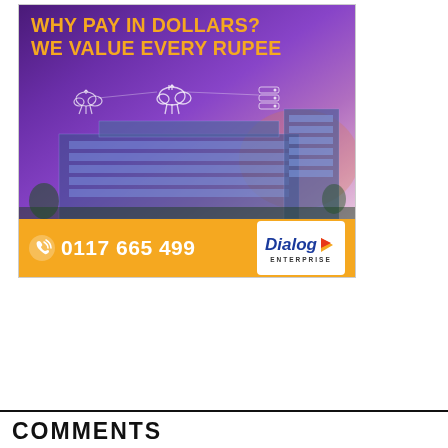[Figure (illustration): Advertisement for Dialog Enterprise showing a purple-toned technology banner with headline 'WHY PAY IN DOLLARS? WE VALUE EVERY RUPEE' in orange text, building with tech overlay icons, an orange bar at the bottom displaying phone number '0117 665 499' and the Dialog Enterprise logo.]
COMMENTS